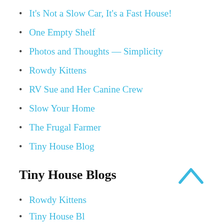It's Not a Slow Car, It's a Fast House!
One Empty Shelf
Photos and Thoughts — Simplicity
Rowdy Kittens
RV Sue and Her Canine Crew
Slow Your Home
The Frugal Farmer
Tiny House Blog
Tiny House Blogs
Rowdy Kittens
Tiny House Blog